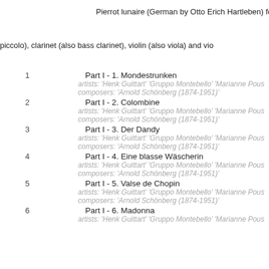Pierrot lunaire (German by Otto Erich Hartleben) for speakin
piccolo), clarinet (also bass clarinet), violin (also viola) and vio
1  Part I - 1. Mondestrunken
artists: 'Henk Guittart' 'Gruppo Montebello' 'Marianne Pous
composers: 'Arnold Schönberg (1874-1951)'
2  Part I - 2. Colombine
artists: 'Henk Guittart' 'Gruppo Montebello' 'Marianne Pous
composers: 'Arnold Schönberg (1874-1951)'
3  Part I - 3. Der Dandy
artists: 'Henk Guittart' 'Gruppo Montebello' 'Marianne Pous
composers: 'Arnold Schönberg (1874-1951)'
4  Part I - 4. Eine blasse Wäscherin
artists: 'Henk Guittart' 'Gruppo Montebello' 'Marianne Pous
composers: 'Arnold Schönberg (1874-1951)'
5  Part I - 5. Valse de Chopin
artists: 'Henk Guittart' 'Gruppo Montebello' 'Marianne Pous
composers: 'Arnold Schönberg (1874-1951)'
6  Part I - 6. Madonna
artists: 'Henk Guittart' 'Gruppo Montebello' 'Marianne Pous